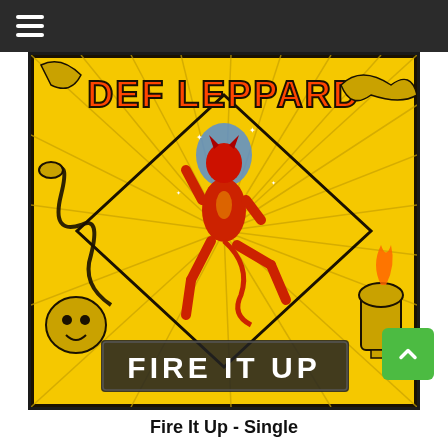☰
[Figure (illustration): Def Leppard 'Fire It Up' single cover art. Yellow and black illustrated design featuring the band name 'DEF LEPPARD' in large orange letters at the top, a red devil figure dancing in the center, intricate decorative elements including snakes, flames, and a trophy/chalice, with the text 'FIRE IT UP' in white block letters at the bottom.]
Fire It Up - Single